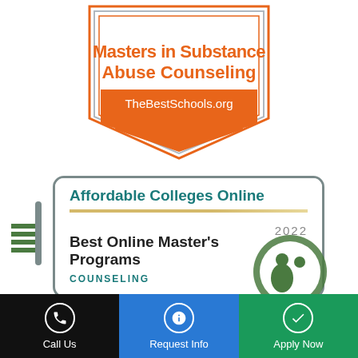[Figure (logo): TheBestSchools.org pentagon badge for Masters in Substance Abuse Counseling with orange and white design]
[Figure (logo): Affordable Colleges Online 2022 Best Online Master's Programs Counseling badge with teal and white card design]
[Figure (logo): Partial ANI logo circle in green]
Call Us | Request Info | Apply Now